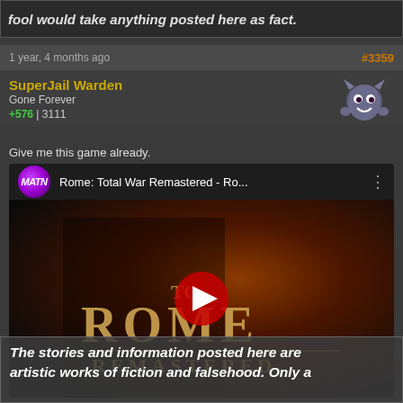fool would take anything posted here as fact.
1 year, 4 months ago
#3359
SuperJail Warden
Gone Forever
+576 | 3111
Give me this game already.
[Figure (screenshot): YouTube video thumbnail for 'Rome: Total War Remastered - Ro...' showing a Roman soldier with the text 'TO ROME REMASTERED' overlaid on a dark dramatic background. The MATN channel logo is shown in the top bar.]
The stories and information posted here are artistic works of fiction and falsehood. Only a